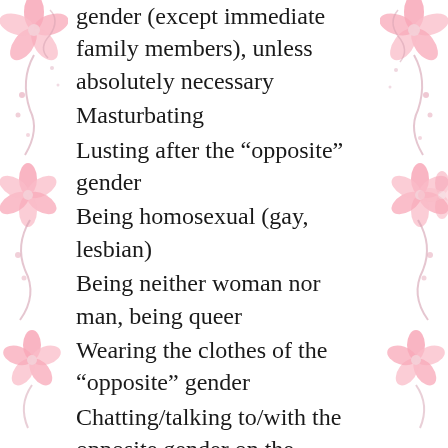gender (except immediate family members), unless absolutely necessary
Masturbating
Lusting after the “opposite” gender
Being homosexual (gay, lesbian)
Being neither woman nor man, being queer
Wearing the clothes of the “opposite” gender
Chatting/talking to/with the opposite gender on the Internet
Eating any non-zabeeha/halaal meat (including in the West)
Eating shrimp and most other sea